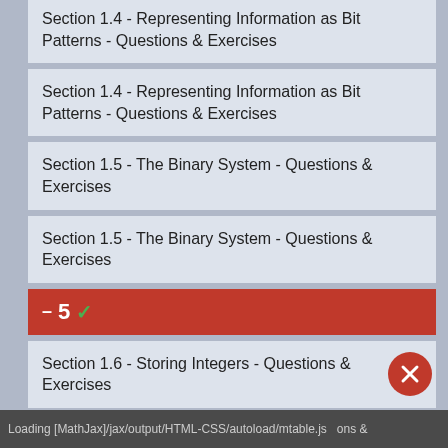Section 1.4 - Representing Information as Bit Patterns - Questions & Exercises
Section 1.4 - Representing Information as Bit Patterns - Questions & Exercises
Section 1.5 - The Binary System - Questions & Exercises
Section 1.5 - The Binary System - Questions & Exercises
5 ✓
Section 1.6 - Storing Integers - Questions & Exercises
Section 1.6 - Storing Integers - Questions & Exercises
Loading [MathJax]/jax/output/HTML-CSS/autoload/mtable.js   ons &